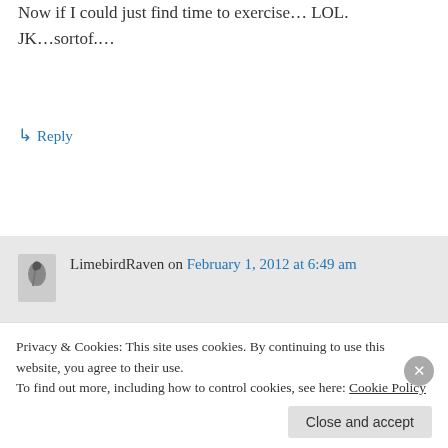Now if I could just find time to exercise... LOL. JK...sortof....
↳ Reply
LimebirdRaven on February 1, 2012 at 6:49 am
I forgot to mention I also read about 40 blog posts…
↳ Reply
Privacy & Cookies: This site uses cookies. By continuing to use this website, you agree to their use.
To find out more, including how to control cookies, see here: Cookie Policy
Close and accept